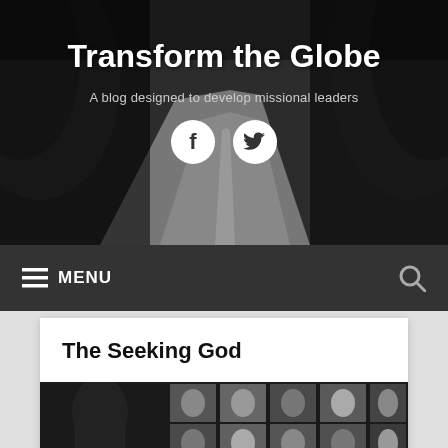[Figure (photo): Black and white photo of a winding road through a forest, used as hero background]
Transform the Globe
A blog designed to develop missional leaders
[Figure (logo): Facebook and Twitter social media icons in white circles]
≡ MENU
The Seeking God
[Figure (photo): Photo mosaic collage of diverse people faces]